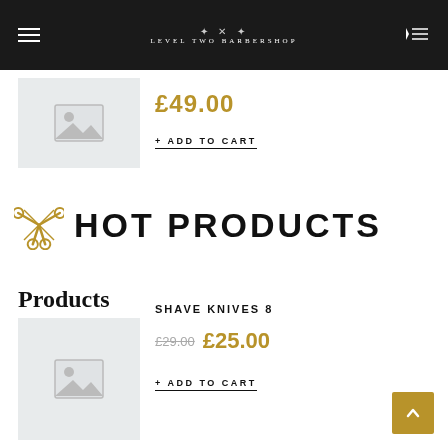Level Two Barbershop – navigation bar
[Figure (illustration): Product image placeholder (grey box with mountain/image icon)]
£49.00
+ ADD TO CART
HOT PRODUCTS
Products
SHAVE KNIVES 8
[Figure (illustration): Product image placeholder (grey box with mountain/image icon)]
£29.00  £25.00
+ ADD TO CART